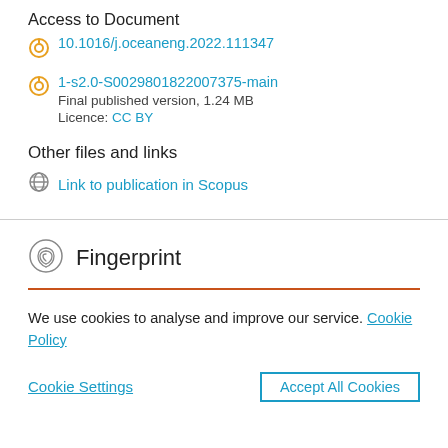Access to Document
10.1016/j.oceaneng.2022.111347
1-s2.0-S00298018 22007375-main
Final published version, 1.24 MB
Licence: CC BY
Other files and links
Link to publication in Scopus
Fingerprint
We use cookies to analyse and improve our service. Cookie Policy